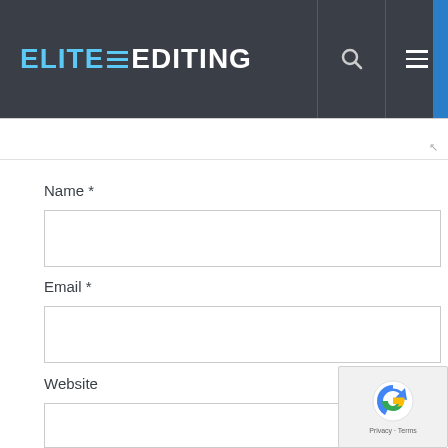ELITE EDITING
Name *
Email *
Website
Save my name, email, and website in this browser for the next